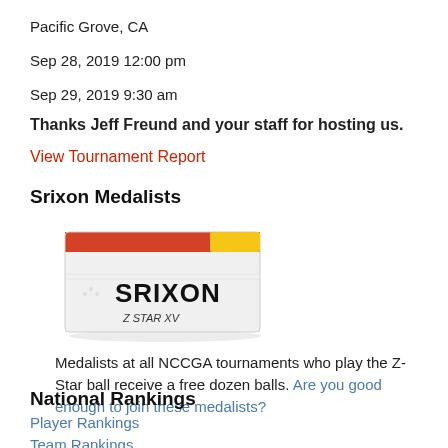Pacific Grove, CA
Sep 28, 2019 12:00 pm
Sep 29, 2019 9:30 am
Thanks Jeff Freund and your staff for hosting us.
View Tournament Report
Srixon Medalists
[Figure (photo): Box of Srixon Z-Star XV golf balls, white box with red accent stripe and yellow label]
Medalists at all NCCGA tournaments who play the Z-Star ball receive a free dozen balls. Are you good enough to join these medalists?
National Rankings
Player Rankings
Team Rankings